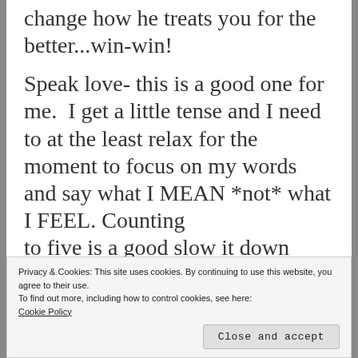change how he treats you for the better...win-win!
Speak love- this is a good one for me.  I get a little tense and I need to at the least relax for the moment to focus on my words and say what I MEAN *not* what I FEEL. Counting to five is a good slow it down before
Privacy & Cookies: This site uses cookies. By continuing to use this website, you agree to their use.
To find out more, including how to control cookies, see here:
Cookie Policy
Close and accept